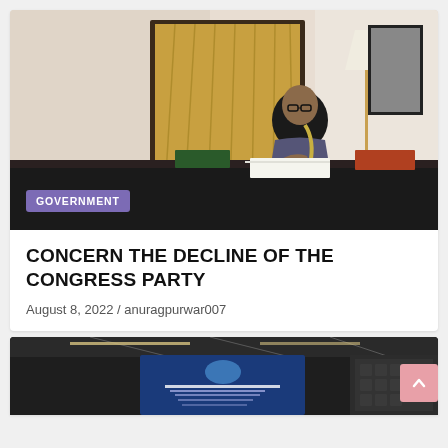[Figure (photo): Woman in a saree sitting at a desk writing, with golden curtains in the background. A 'GOVERNMENT' badge is overlaid at the bottom left of the photo.]
CONCERN THE DECLINE OF THE CONGRESS PARTY
August 8, 2022 / anuragpurwar007
[Figure (photo): Partial view of a conference room with a presentation screen showing text about BEACH TRAVELS and related content.]